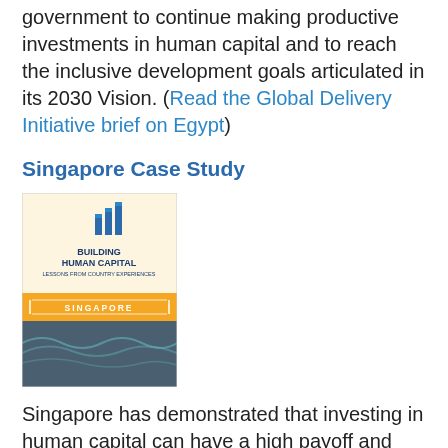government to continue making productive investments in human capital and to reach the inclusive development goals articulated in its 2030 Vision. (Read the Global Delivery Initiative brief on Egypt)
Singapore Case Study
[Figure (illustration): Book cover: 'Building Human Capital – Lessons from Country Experiences: Singapore'. Cream upper half with bar chart icon and dark blue text; orange band with white text 'SINGAPORE'; lower half dark blue-grey with teal wave patterns.]
Singapore has demonstrated that investing in human capital can have a high payoff and that